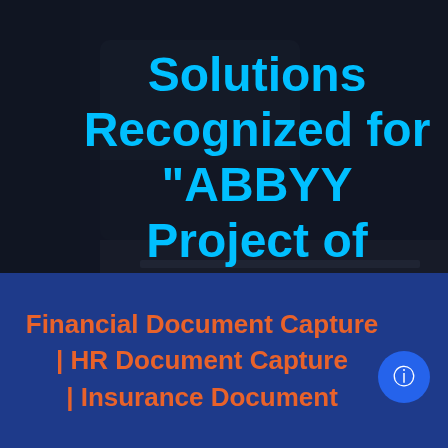[Figure (photo): Dark background photo of a person in a suit looking at blueprints/plans, with a blue-tinted dark overlay]
Solutions Recognized for “ABBYY Project of the Year”
[Figure (other): Social media share buttons sidebar: Facebook (blue), Twitter (light blue), Pinterest (red), LinkedIn (blue)]
Financial Document Capture | HR Document Capture | Insurance Document